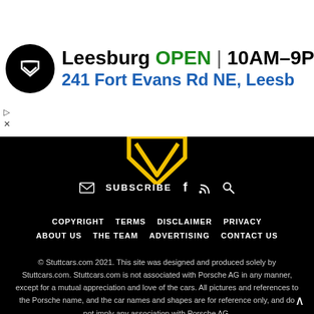[Figure (screenshot): Advertisement banner for a car dealership in Leesburg showing logo, OPEN status, hours 10AM-9PM, address 241 Fort Evans Rd NE, Leesb, and navigation icon]
[Figure (illustration): Partial Porsche/Stuttcars shield logo in yellow on black background, showing bottom chevron portion]
✉ SUBSCRIBE  f  ⊕  🔍
COPYRIGHT   TERMS   DISCLAIMER   PRIVACY
ABOUT US   THE TEAM   ADVERTISING   CONTACT US
© Stuttcars.com 2021. This site was designed and produced solely by Stuttcars.com. Stuttcars.com is not associated with Porsche AG in any manner, except for a mutual appreciation and love of the cars. All pictures and references to the Porsche name, and the car names and shapes are for reference only, and do not imply any association with Porsche AG.